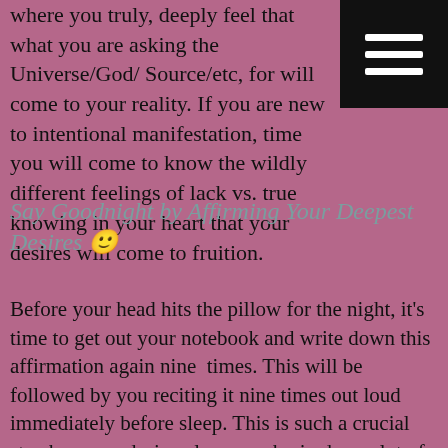where you truly, deeply feel that what you are asking the Universe/God/ Source/etc, for will come to your reality. If you are new to intentional manifestation, time you will come to know the wildly different feelings of lack vs. true knowing in your heart that your desires will come to fruition.
Say Goodnight by Affirming Your Deepest Desires 🙂
Before your head hits the pillow for the night, it's time to get out your notebook and write down this affirmation again nine  times. This will be followed by you reciting it nine times out loud immediately before sleep. This is such a crucial step because, during sleep, our brain does a lot of consolidating what it has accumulated during the day.